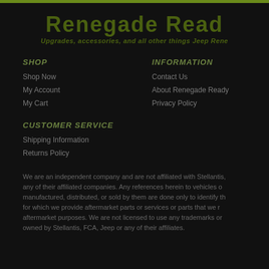Renegade Ready
Upgrades, accessories, and all other things Jeep Rene...
SHOP
INFORMATION
Shop Now
Contact Us
My Account
About Renegade Ready
My Cart
Privacy Policy
CUSTOMER SERVICE
Shipping Information
Returns Policy
We are an independent company and are not affiliated with Stellantis, any of their affiliated companies. Any references herein to vehicles or manufactured, distributed, or sold by them are done only to identify the for which we provide aftermarket parts or services or parts that we r... aftermarket purposes. We are not licensed to use any trademarks or owned by Stellantis, FCA, Jeep or any of their affiliates.